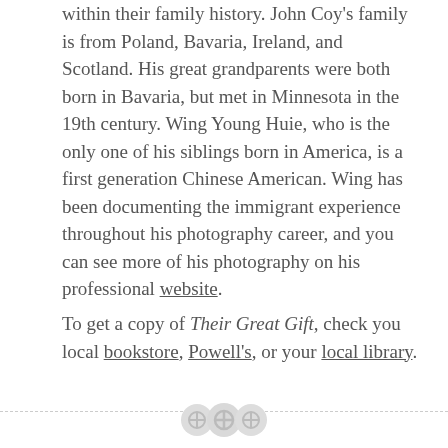within their family history. John Coy's family is from Poland, Bavaria, Ireland, and Scotland. His great grandparents were both born in Bavaria, but met in Minnesota in the 19th century. Wing Young Huie, who is the only one of his siblings born in America, is a first generation Chinese American. Wing has been documenting the immigrant experience throughout his photography career, and you can see more of his photography on his professional website.
To get a copy of Their Great Gift, check you local bookstore, Powell's, or your local library.